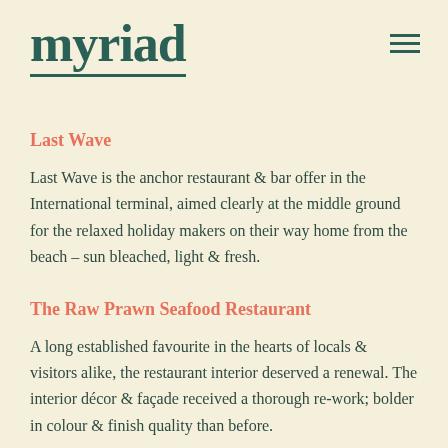myriad
Last Wave
Last Wave is the anchor restaurant & bar offer in the International terminal, aimed clearly at the middle ground for the relaxed holiday makers on their way home from the beach – sun bleached, light & fresh.
The Raw Prawn Seafood Restaurant
A long established favourite in the hearts of locals & visitors alike, the restaurant interior deserved a renewal. The interior décor & façade received a thorough re-work; bolder in colour & finish quality than before.